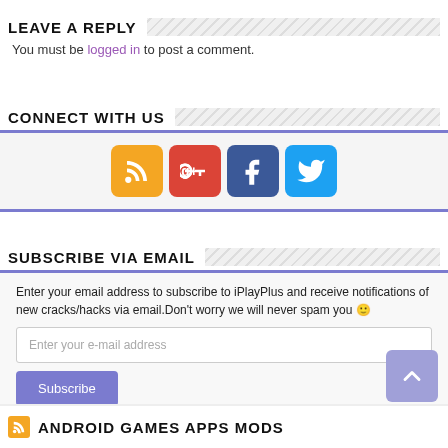LEAVE A REPLY
You must be logged in to post a comment.
CONNECT WITH US
[Figure (infographic): Social media icons: RSS (orange), Google+ (red), Facebook (dark blue), Twitter (light blue)]
SUBSCRIBE VIA EMAIL
Enter your email address to subscribe to iPlayPlus and receive notifications of new cracks/hacks via email.Don't worry we will never spam you 🙂
Enter your e-mail address
Subscribe
ANDROID GAMES APPS MODS